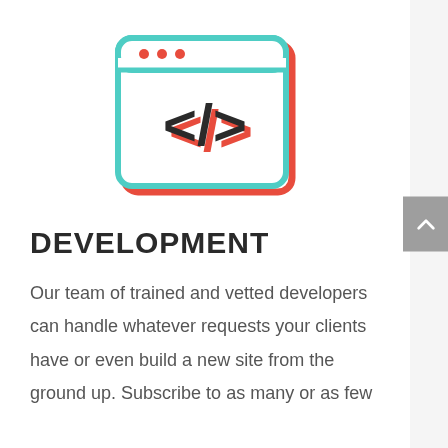[Figure (illustration): Icon of a web browser window with a code tag symbol inside. The browser window outline is drawn in teal/cyan, with red/orange accents for the title bar dots and outer shadow. Inside the browser is a '</>' code tag symbol in dark gray with red/orange highlights.]
DEVELOPMENT
Our team of trained and vetted developers can handle whatever requests your clients have or even build a new site from the ground up. Subscribe to as many or as few